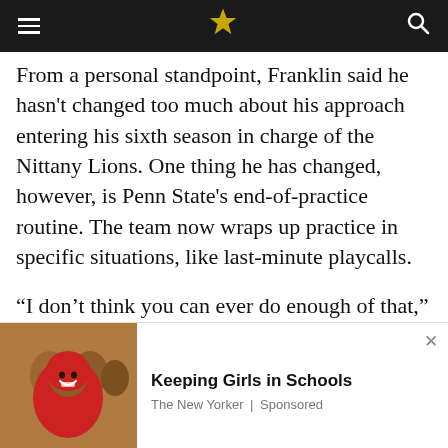[Navigation bar with menu, logo, search]
From a personal standpoint, Franklin said he hasn't changed too much about his approach entering his sixth season in charge of the Nittany Lions. One thing he has changed, however, is Penn State's end-of-practice routine. The team now wraps up practice in specific situations, like last-minute playcalls.
“I don’t think you can ever do enough of that,” Franklin said. “We try to end each practice with some type of situation. Today was four-minute —
[Figure (photo): Advertisement photo showing smiling girl in red hijab with other children in background]
Keeping Girls in Schools
The New Yorker | Sponsored
Social share buttons: Facebook, Twitter, Email, SMS